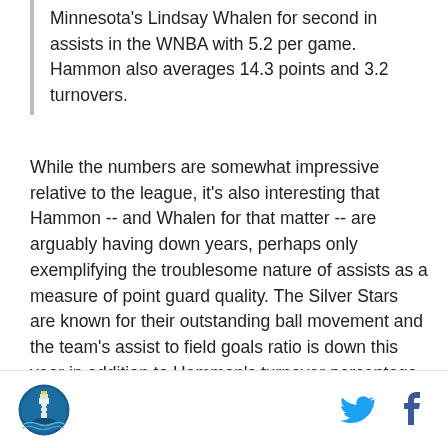Minnesota's Lindsay Whalen for second in assists in the WNBA with 5.2 per game. Hammon also averages 14.3 points and 3.2 turnovers.
While the numbers are somewhat impressive relative to the league, it's also interesting that Hammon -- and Whalen for that matter -- are arguably having down years, perhaps only exemplifying the troublesome nature of assists as a measure of point guard quality. The Silver Stars are known for their outstanding ball movement and the team's assist to field goals ratio is down this year in addition to Hammon's turnover percentage as the primary ball handler rising to 15%. After being arguably the best point guard in the league last year, Hammon's down year could be considered